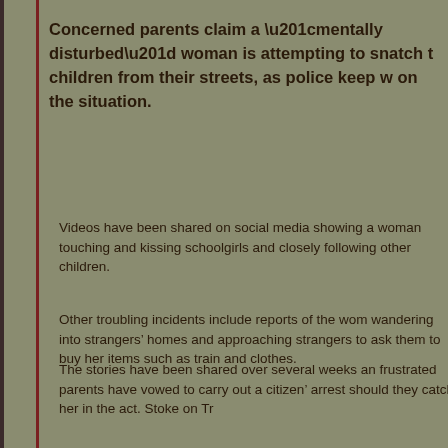Concerned parents claim a “mentally disturbed” woman is attempting to snatch children from their streets, as police keep watch on the situation.
Videos have been shared on social media showing a woman touching and kissing schoolgirls and closely following other children.
Other troubling incidents include reports of the woman wandering into strangers’ homes and approaching strangers to ask them to buy her items such as train and clothes.
The stories have been shared over several weeks and frustrated parents have vowed to carry out a citizen’s arrest should they catch her in the act. Stoke on Tr...